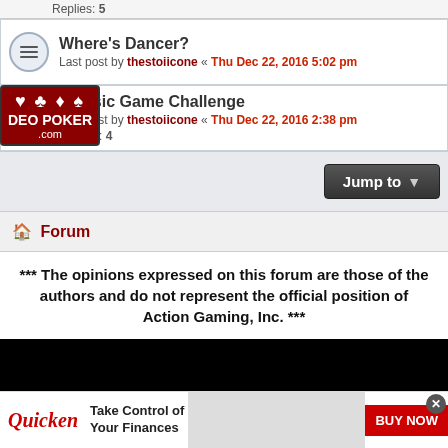Replies: 5
Where's Dancer?
Last post by thestoiicone « Thu Dec 22, 2016 5:02 pm
[Figure (logo): Video Poker .com watermark logo overlay with card suits]
Classic Game Challenge
Last post by thestoiicone « Thu Dec 22, 2016 2:38 pm
Replies: 4
Jump to
🏠 Forum
*** The opinions expressed on this forum are those of the authors and do not represent the official position of Action Gaming, Inc. ***
[Figure (screenshot): Black area and advertisement banner for Quicken - Take Control of Your Finances with BUY NOW button]
This site uses cookies for personalized content and analytics. By continuing to use this site, you agree to this use.
Close